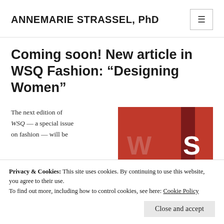ANNEMARIE STRASSEL, PhD
Coming soon! New article in WSQ Fashion: “Designing Women”
The next edition of WSQ — a special issue on fashion — will be
[Figure (logo): WSQ journal cover/logo with red background and large letters W S Q]
Privacy & Cookies: This site uses cookies. By continuing to use this website, you agree to their use.
To find out more, including how to control cookies, see here: Cookie Policy
Close and accept